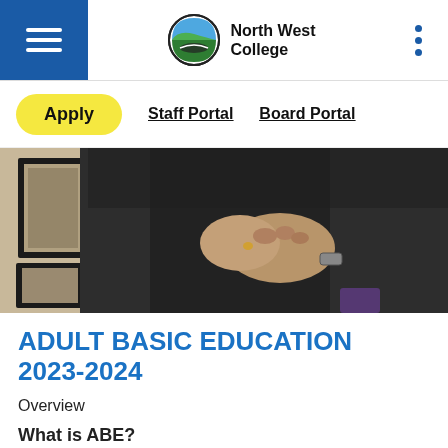North West College
Apply  Staff Portal  Board Portal
[Figure (photo): Person in dark jacket with hands clasped together, framed pictures visible on wall in background]
ADULT BASIC EDUCATION 2023-2024
Overview
What is ABE?